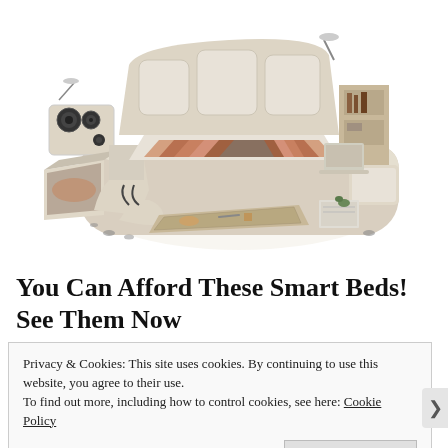[Figure (photo): A luxury smart bed with multiple features including speakers, storage drawers, built-in reading lamps, massage chair attachments, laptop stand, and bedside storage compartments. The bed frame is cream/beige colored leather with wood accents. The mattress area shows striped bedding.]
You Can Afford These Smart Beds! See Them Now
Privacy & Cookies: This site uses cookies. By continuing to use this website, you agree to their use.
To find out more, including how to control cookies, see here: Cookie Policy
Close and accept